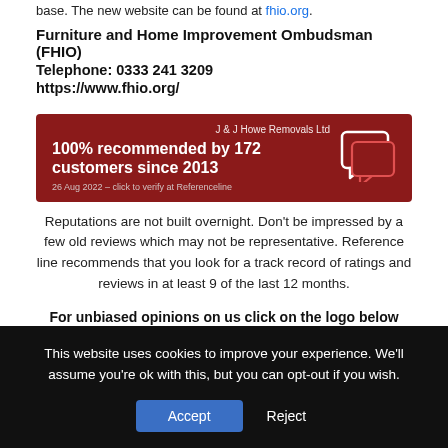base. The new website can be found at fhio.org.
Furniture and Home Improvement Ombudsman (FHIO)
Telephone: 0333 241 3209
https://www.fhio.org/
[Figure (other): Dark red badge showing 'J & J Howe Removals Ltd — 100% recommended by 172 customers since 2013 — 26 Aug 2022 - click to verify at Referenceline' with a speech bubble icon on the right.]
Reputations are not built overnight. Don't be impressed by a few old reviews which may not be representative. Reference line recommends that you look for a track record of ratings and reviews in at least 9 of the last 12 months.
For unbiased opinions on us click on the logo below
This website uses cookies to improve your experience. We'll assume you're ok with this, but you can opt-out if you wish.